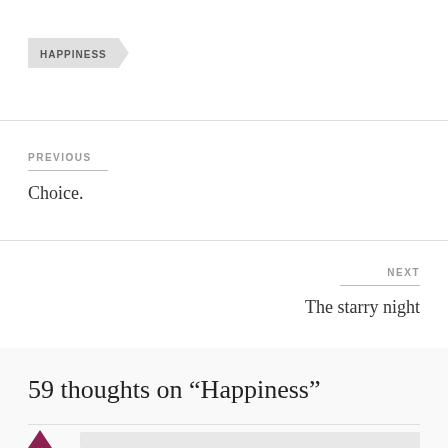HAPPINESS
PREVIOUS
Choice.
NEXT
The starry night
59 thoughts on “Happiness”